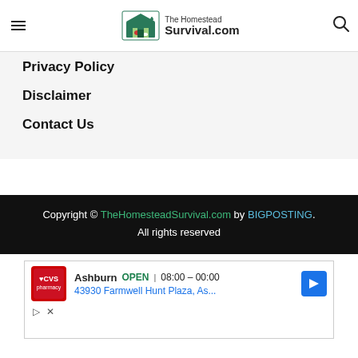The Homestead Survival.com
Privacy Policy
Disclaimer
Contact Us
Copyright © TheHomesteadSurvival.com by BIGPOSTING. All rights reserved
[Figure (other): CVS Pharmacy advertisement showing Ashburn location OPEN 08:00 – 00:00, 43930 Farmwell Hunt Plaza, As...]